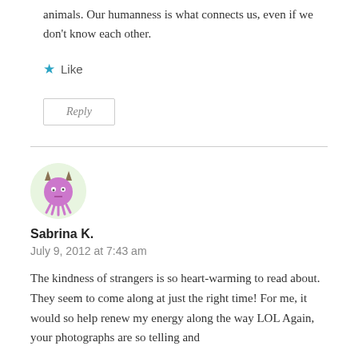animals. Our humanness is what connects us, even if we don't know each other.
★ Like
Reply
[Figure (illustration): Cartoon avatar of a purple horned creature (devil/monster character) on a light green circular background]
Sabrina K.
July 9, 2012 at 7:43 am
The kindness of strangers is so heart-warming to read about. They seem to come along at just the right time! For me, it would so help renew my energy along the way LOL Again, your photographs are so telling and